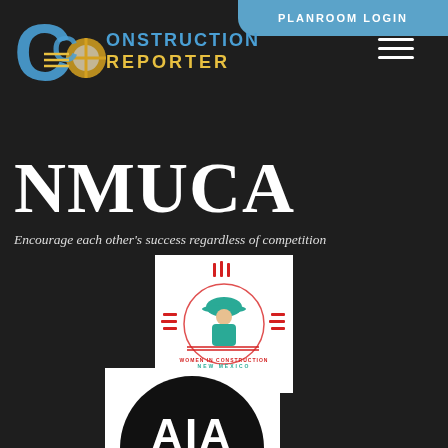PLANROOM LOGIN
[Figure (logo): Construction Reporter logo with stylized CC letters and New Mexico Zia symbol]
NMUCA
Encourage each other's success regardless of competition
[Figure (logo): Women in Construction New Mexico logo with teal hard-hat figure and Zia symbol]
[Figure (logo): AIA logo - black circle with white AIA letters]